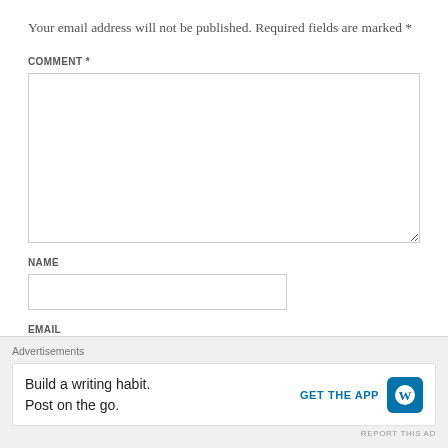Your email address will not be published. Required fields are marked *
COMMENT *
[Figure (other): Empty comment textarea form field]
NAME
[Figure (other): Empty name input form field]
EMAIL
[Figure (other): Advertisement banner: Build a writing habit. Post on the go. GET THE APP with WordPress logo]